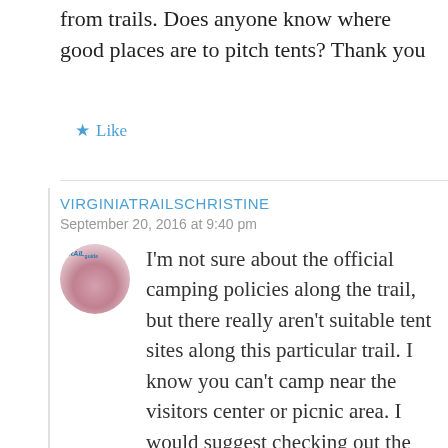from trails. Does anyone know where good places are to pitch tents? Thank you
Like
VIRGINIATRAILSCHRISTINE
September 20, 2016 at 9:40 pm
I'm not sure about the official camping policies along the trail, but there really aren't suitable tent sites along this particular trail. I know you can't camp near the visitors center or picnic area. I would suggest checking out the nearby Seneca Creek-Spruce Knob area for GREAT backcountry camping. My